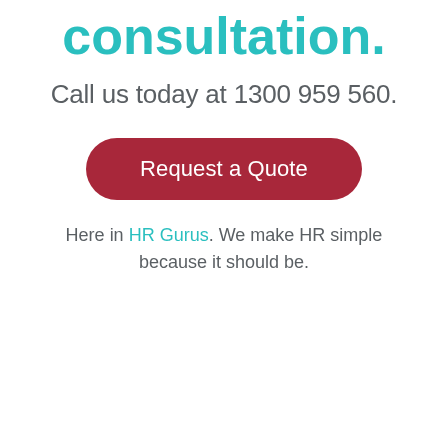consultation.
Call us today at 1300 959 560.
Request a Quote
Here in HR Gurus. We make HR simple because it should be.